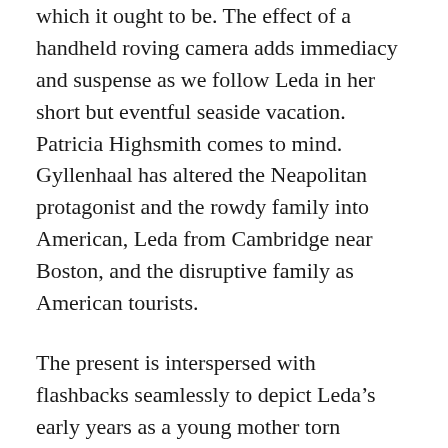which it ought to be. The effect of a handheld roving camera adds immediacy and suspense as we follow Leda in her short but eventful seaside vacation. Patricia Highsmith comes to mind. Gyllenhaal has altered the Neapolitan protagonist and the rowdy family into American, Leda from Cambridge near Boston, and the disruptive family as American tourists.
The present is interspersed with flashbacks seamlessly to depict Leda’s early years as a young mother torn between the constant demands of child-caring and her personal needs and ambition. Professor Hardy during his lecture in the conference mentions a quote by Simone Weil: “Attention is the rarest and purest form of generosity.” At the time, to a young and rising academic, the relevance had not sunk in for Leda.